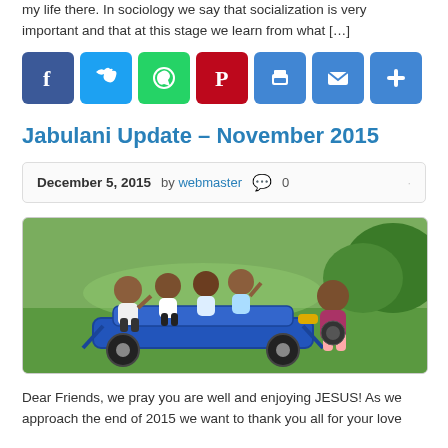my life there. In sociology we say that socialization is very important and that at this stage we learn from what […]
[Figure (infographic): Row of seven social sharing icon buttons: Facebook (blue), Twitter (light blue), WhatsApp (green), Pinterest (red), Print (blue), Email (blue), Share/Plus (blue)]
Jabulani Update – November 2015
December 5, 2015  by webmaster  💬 0
[Figure (photo): Group of African children sitting and playing on a blue ride-on cart/toy on a green grassy area. One girl on the right is at a steering wheel. Several children are waving or smiling at the camera.]
Dear Friends, we pray you are well and enjoying JESUS! As we approach the end of 2015 we want to thank you all for your love